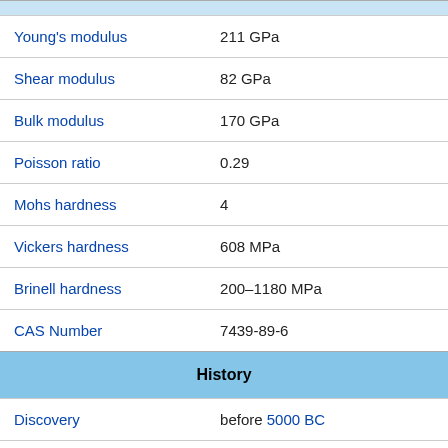| Property | Value |
| --- | --- |
| Young's modulus | 211 GPa |
| Shear modulus | 82 GPa |
| Bulk modulus | 170 GPa |
| Poisson ratio | 0.29 |
| Mohs hardness | 4 |
| Vickers hardness | 608 MPa |
| Brinell hardness | 200–1180 MPa |
| CAS Number | 7439-89-6 |
| History |  |
| Discovery | before 5000 BC |
| Symbol | "Fe": from Latin ferrum |